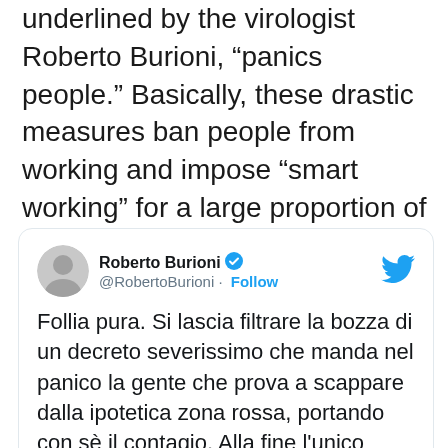underlined by the virologist Roberto Burioni, "panics people." Basically, these drastic measures ban people from working and impose "smart working" for a large proportion of workers, limit freedom of motion in some areas, pressure people to stay at home, and ban all public "gatherings" (inside or outside). Every right is more and more restricted or denied. All of this, amid the consequent mass panic and social isolation of millions of people.
[Figure (screenshot): Embedded tweet from Roberto Burioni (@RobertoBurioni) with Twitter bird icon. Tweet text in Italian: Follia pura. Si lascia filtrare la bozza di un decreto severissimo che manda nel panico la gente che prova a scappare dalla ipotetica zona rossa, portando con sè il contagio. Alla fine l'unico effetto è quello di aiutare il virus a diffondersi. Non ho parole.]